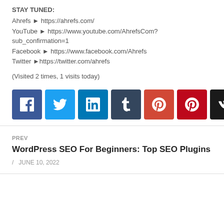STAY TUNED:
Ahrefs ► https://ahrefs.com/
YouTube ► https://www.youtube.com/AhrefsCom?sub_confirmation=1
Facebook ► https://www.facebook.com/Ahrefs
Twitter ► https://twitter.com/ahrefs
(Visited 2 times, 1 visits today)
[Figure (infographic): Row of 8 social media share buttons: Facebook (blue), Twitter (light blue), LinkedIn (blue), Tumblr (dark navy), Google+ (red-orange), Pinterest (red), VK (black), Email (green)]
PREV
WordPress SEO For Beginners: Top SEO Plugins
/ JUNE 10, 2022